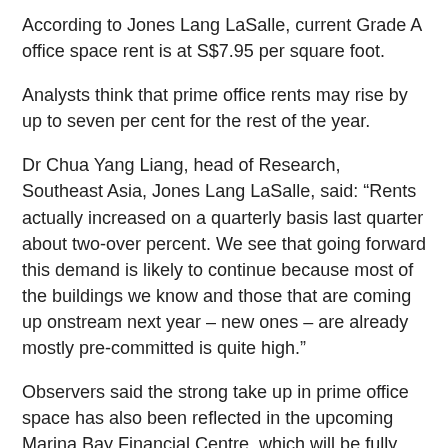According to Jones Lang LaSalle, current Grade A office space rent is at S$7.95 per square foot.
Analysts think that prime office rents may rise by up to seven per cent for the rest of the year.
Dr Chua Yang Liang, head of Research, Southeast Asia, Jones Lang LaSalle, said: “Rents actually increased on a quarterly basis last quarter about two-over percent. We see that going forward this demand is likely to continue because most of the buildings we know and those that are coming up onstream next year – new ones – are already mostly pre-committed is quite high.”
Observers said the strong take up in prime office space has also been reflected in the upcoming Marina Bay Financial Centre, which will be fully complete by 2012.
Tower 1 and Tower 2 are already fully leased, with a small percentage of space reserved in Tower 2 for existing tenants’ expansion.
Tower 3 pre-commitment levels are currently at 55 per cent